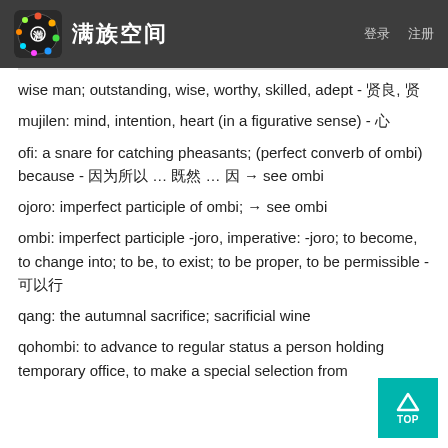满族空间
wise man; outstanding, wise, worthy, skilled, adept - 贤良, 贤
mujilen: mind, intention, heart (in a figurative sense) - 心
ofi: a snare for catching pheasants; (perfect converb of ombi) because - 因为所以 … 既然 … 因 → see ombi
ojoro: imperfect participle of ombi; → see ombi
ombi: imperfect participle -joro, imperative: -joro; to become, to change into; to be, to exist; to be proper, to be permissible - 可以行
qang: the autumnal sacrifice; sacrificial wine
qohombi: to advance to regular status a person holding temporary office, to make a special selection from